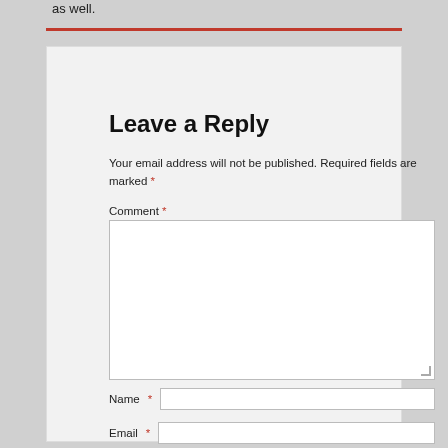as well.
Leave a Reply
Your email address will not be published. Required fields are marked *
Comment *
Name *
Email *